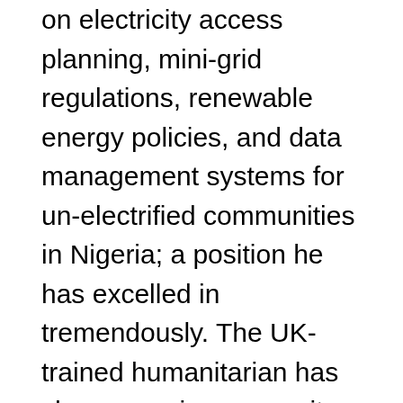on electricity access planning, mini-grid regulations, renewable energy policies, and data management systems for un-electrified communities in Nigeria; a position he has excelled in tremendously. The UK-trained humanitarian has shown a unique capacity to lead the state and take it to the next level. Some might be tempted to ask, is he not from the same ethnicity as Yahaya Bello? Yes, he is. However, I do not believe that ethnicity would play a critical role in the choice of leadership for the state come the 2023 elections. My assertion is based on the general feedback received from the electorate via opinion polls conducted recently. The people of Kogi state want someone who is young